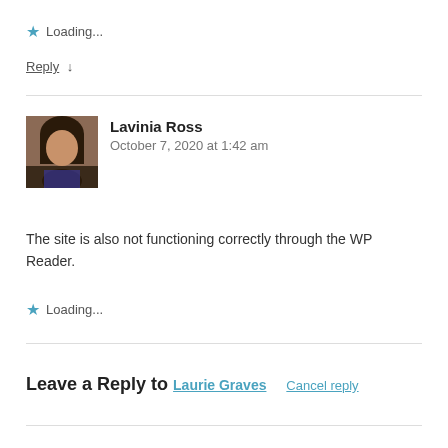★ Loading...
Reply ↓
[Figure (photo): Avatar photo of Lavinia Ross, a woman with dark hair]
Lavinia Ross
October 7, 2020 at 1:42 am
The site is also not functioning correctly through the WP Reader.
★ Loading...
Leave a Reply to Laurie Graves  Cancel reply